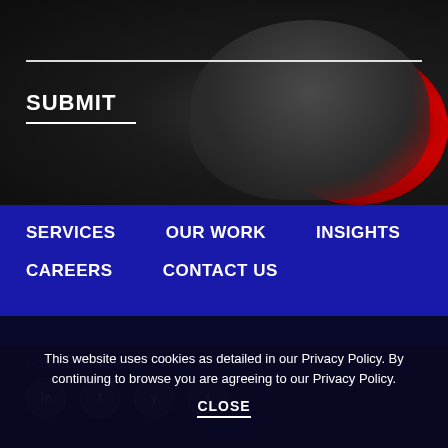[Figure (photo): Dark background photo showing a person sitting in a red chair using a laptop, dimly lit scene]
SUBMIT
SERVICES
OUR WORK
INSIGHTS
CAREERS
CONTACT US
CONNECT WITH US:
This website uses cookies as detailed in our Privacy Policy. By continuing to browse you are agreeing to our Privacy Policy.
CLOSE